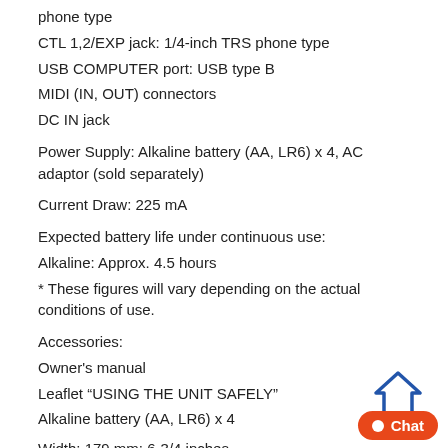phone type
CTL 1,2/EXP jack: 1/4-inch TRS phone type
USB COMPUTER port: USB type B
MIDI (IN, OUT) connectors
DC IN jack
Power Supply: Alkaline battery (AA, LR6) x 4, AC adaptor (sold separately)
Current Draw: 225 mA
Expected battery life under continuous use:
Alkaline: Approx. 4.5 hours
* These figures will vary depending on the actual conditions of use.
Accessories:
Owner's manual
Leaflet “USING THE UNIT SAFELY”
Alkaline battery (AA, LR6) x 4
Width: 179 mm; 6-3/4 inches